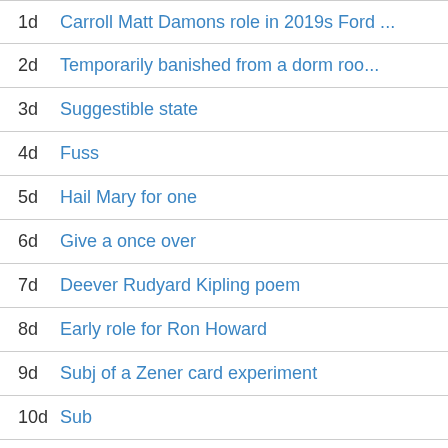1d Carroll Matt Damons role in 2019s Ford ...
2d Temporarily banished from a dorm roo...
3d Suggestible state
4d Fuss
5d Hail Mary for one
6d Give a once over
7d Deever Rudyard Kipling poem
8d Early role for Ron Howard
9d Subj of a Zener card experiment
10d Sub